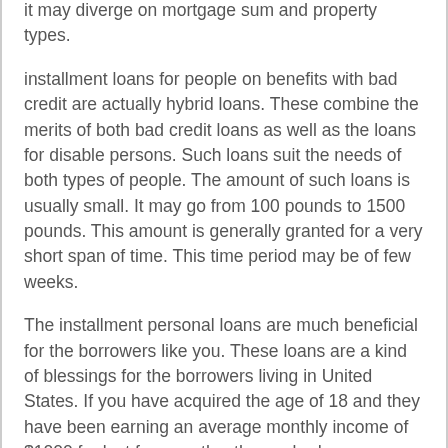it may diverge on mortgage sum and property types.
installment loans for people on benefits with bad credit are actually hybrid loans. These combine the merits of both bad credit loans as well as the loans for disable persons. Such loans suit the needs of both types of people. The amount of such loans is usually small. It may go from 100 pounds to 1500 pounds. This amount is generally granted for a very short span of time. This time period may be of few weeks.
The installment personal loans are much beneficial for the borrowers like you. These loans are a kind of blessings for the borrowers living in United States. If you have acquired the age of 18 and they have been earning an average monthly income of $1000 for last few months, then nobody can interrupt in between the approval of these loans for you. You may ask these lenders for any amount up to $1500 for fulfilling your needs without any kind of hindrance. They will bestow you with such an amount very easily.
First, instant loans are like micro loans. Usually, these kinds